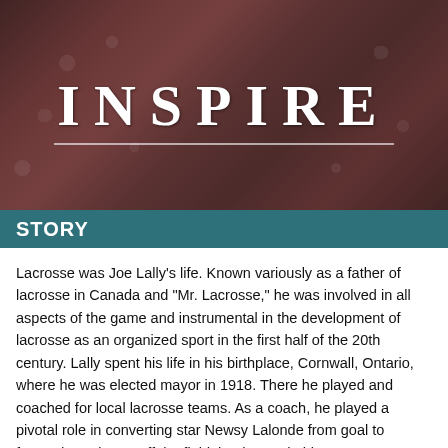[Figure (photo): Sepia/dark reddish-brown vintage photograph showing people in period clothing, with floral patterns visible, overlaid with the large white text 'INSPIRE' centered on the image with an underline beneath it.]
STORY
Lacrosse was Joe Lally's life. Known variously as a father of lacrosse in Canada and "Mr. Lacrosse," he was involved in all aspects of the game and instrumental in the development of lacrosse as an organized sport in the first half of the 20th century. Lally spent his life in his birthplace, Cornwall, Ontario, where he was elected mayor in 1918. There he played and coached for local lacrosse teams. As a coach, he played a pivotal role in converting star Newsy Lalonde from goal to forward. But it was off the field that he made his greatest contributions to the sport he loved. In 1903, Lally took over the Cornwall-based lacrosse stick manufacturing business started by his brother Frank in 1881. Lally sticks were to become